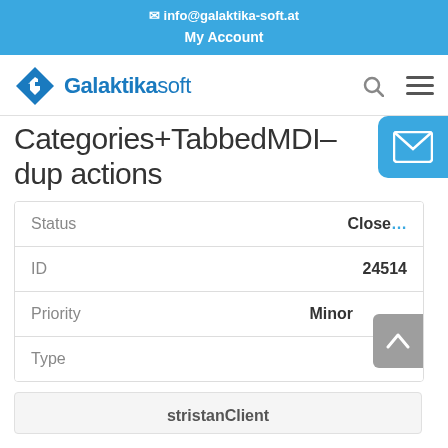✉ info@galaktika-soft.at
My Account
[Figure (logo): Galaktikasoft logo with blue diamond/G icon and text 'Galaktikasoft']
Categories+TabbedMDI–dup actions
| Status | Close... |
| ID | 24514 |
| Priority | Minor |
| Type | Bug |
stristanClient